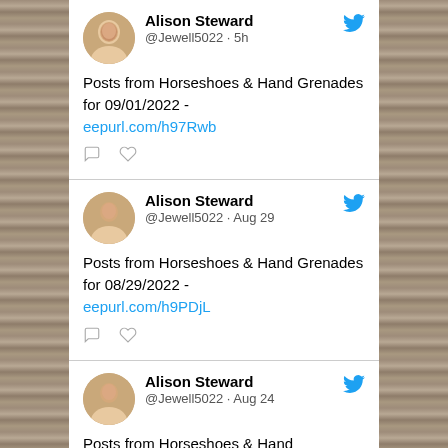[Figure (screenshot): Screenshot of three tweets by Alison Steward (@Jewell5022) showing posts about Horseshoes & Hand Grenades blog posts]
Alison Steward @Jewell5022 · 5h
Posts from Horseshoes & Hand Grenades for 09/01/2022 - eepurl.com/h97Rwb
Alison Steward @Jewell5022 · Aug 29
Posts from Horseshoes & Hand Grenades for 08/29/2022 - eepurl.com/h9PDjL
Alison Steward @Jewell5022 · Aug 24
Posts from Horseshoes & Hand Grenades for 08/24/2022 -